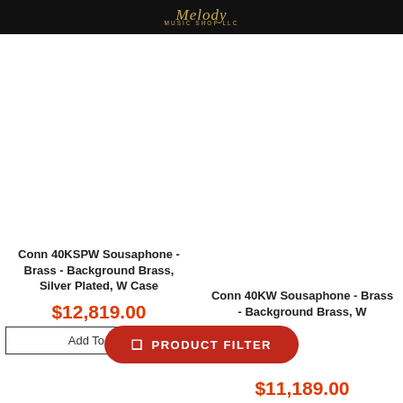Melody Music Shop LLC
[Figure (screenshot): SALE badge (orange circle) top left]
[Figure (screenshot): SALE badge (orange circle) top right]
Conn 40KSPW Sousaphone - Brass - Background Brass, Silver Plated, W Case
$12,819.00
Add To Cart
Conn 40KW Sousaphone - Brass - Background Brass, W
$11,189.00
PRODUCT FILTER